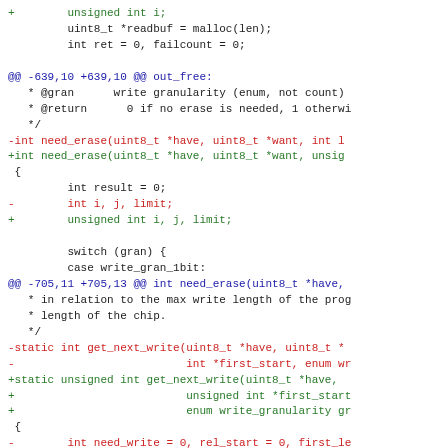Diff/patch code showing changes to C source: unsigned int variables, need_erase and get_next_write function signatures, and related variable declarations.